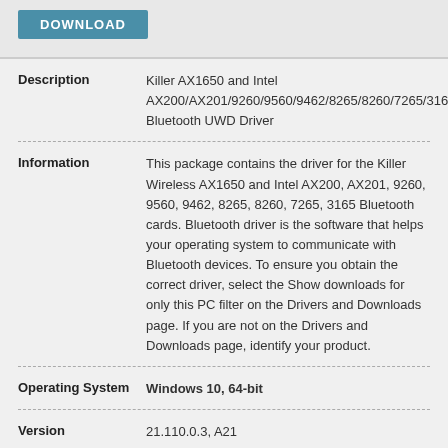[Figure (other): DOWNLOAD button in teal/blue color]
| Description | Killer AX1650 and Intel AX200/AX201/9260/9560/9462/8265/8260/7265/3165 Bluetooth UWD Driver |
| Information | This package contains the driver for the Killer Wireless AX1650 and Intel AX200, AX201, 9260, 9560, 9462, 8265, 8260, 7265, 3165 Bluetooth cards. Bluetooth driver is the software that helps your operating system to communicate with Bluetooth devices. To ensure you obtain the correct driver, select the Show downloads for only this PC filter on the Drivers and Downloads page. If you are not on the Drivers and Downloads page, identify your product. |
| Operating System | Windows 10, 64-bit |
| Version | 21.110.0.3, A21 |
| Size Driver | 44.87 MB |